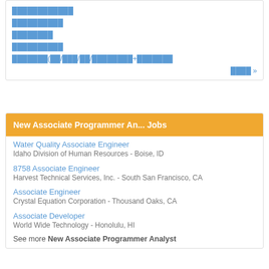████████████
██████████
████████
██████████
███████(██/███/██/████████+███████
████ »
New Associate Programmer An... Jobs
Water Quality Associate Engineer
Idaho Division of Human Resources - Boise, ID
8758 Associate Engineer
Harvest Technical Services, Inc. - South San Francisco, CA
Associate Engineer
Crystal Equation Corporation - Thousand Oaks, CA
Associate Developer
World Wide Technology - Honolulu, HI
See more New Associate Programmer Analyst